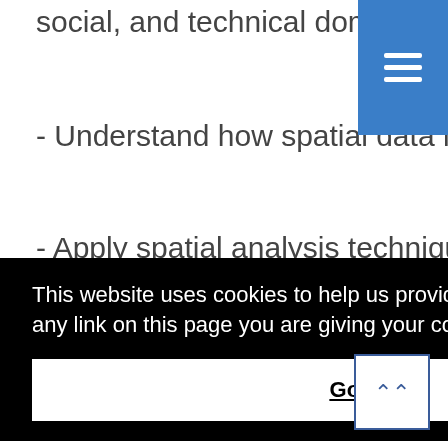social, and technical domains
- Understand how spatial data is created
- Apply spatial analysis techniques using interactive web maps
This website uses cookies to help us provide you a better experience. By clicking any link on this page you are giving your consent for us to set cookies. Learn more
Got it!
ing